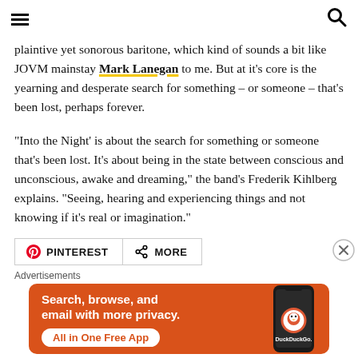[hamburger menu] [search icon]
plaintive yet sonorous baritone, which kind of sounds a bit like JOVM mainstay Mark Lanegan to me. But at it's core is the yearning and desperate search for something – or someone – that's been lost, perhaps forever.
“Into the Night' is about the search for something or someone that's been lost. It's about being in the state between conscious and unconscious, awake and dreaming,” the band's Frederik Kihlberg explains. “Seeing, hearing and experiencing things and not knowing if it's real or imagination.”
[Figure (infographic): Share buttons: Pinterest and More]
Advertisements
[Figure (infographic): DuckDuckGo advertisement banner: Search, browse, and email with more privacy. All in One Free App. Shows a phone with DuckDuckGo logo.]